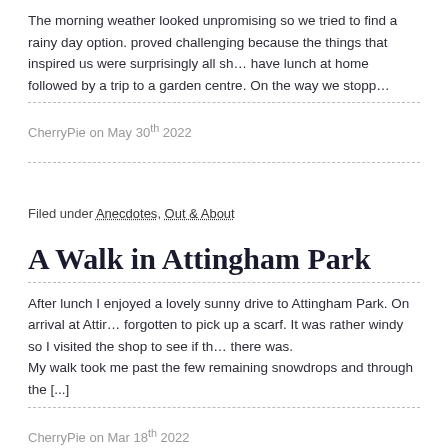The morning weather looked unpromising so we tried to find a rainy day option. proved challenging because the things that inspired us were surprisingly all sh… have lunch at home followed by a trip to a garden centre. On the way we stopp…
CherryPie on May 30th 2022
Filed under Anecdotes, Out & About
A Walk in Attingham Park
After lunch I enjoyed a lovely sunny drive to Attingham Park. On arrival at Attir… forgotten to pick up a scarf. It was rather windy so I visited the shop to see if th… there was.
My walk took me past the few remaining snowdrops and through the [...]
CherryPie on Mar 18th 2022
Filed under Anecdotes, Out & About